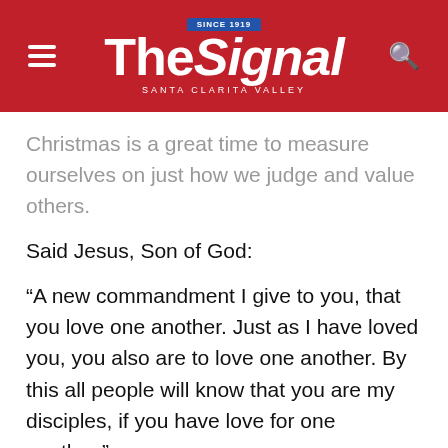The Signal — Santa Clarita Valley
Christmas is a great time to measure ourselves on just how we judge and value others.
Said Jesus, Son of God:
“A new commandment I give to you, that you love one another. Just as I have loved you, you also are to love one another. By this all people will know that you are my disciples, if you have love for one another.”
Jesus makes it crystal clear here. We’ve got to get our sincere love on, if we expect to be viewed as real Christians